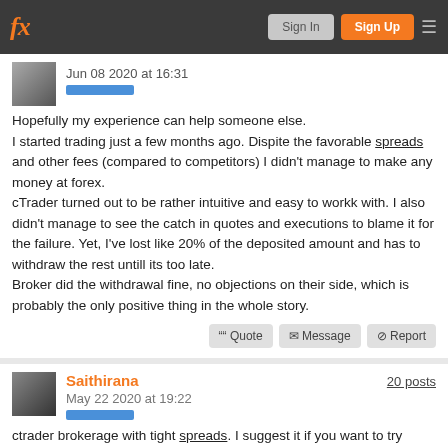fx | Sign In | Sign Up
Jun 08 2020 at 16:31
Hopefully my experience can help someone else.
I started trading just a few months ago. Dispite the favorable spreads and other fees (compared to competitors) I didn't manage to make any money at forex.
cTrader turned out to be rather intuitive and easy to workk with. I also didn't manage to see the catch in quotes and executions to blame it for the failure. Yet, I've lost like 20% of the deposited amount and has to withdraw the rest untill its too late.
Broker did the withdrawal fine, no objections on their side, which is probably the only positive thing in the whole story.
Quote | Message | Report
Saithirana
20 posts
May 22 2020 at 19:22
ctrader brokerage with tight spreads. I suggest it if you want to try cTrader and are interesting in good trading conditions. What advantages are there:
1. 0.01 lots for popular assets